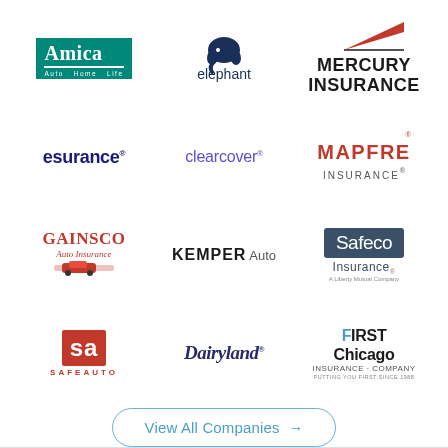[Figure (logo): Amica logo - green box with Amica text, Auto Home Life subtitle]
[Figure (logo): Elephant auto insurance logo - elephant icon above elephant text]
[Figure (logo): Mercury Insurance logo - red swoosh above MERCURY INSURANCE text]
[Figure (logo): Esurance logo - bold dark blue esurance text]
[Figure (logo): Clearcover logo - purple clearcover text]
[Figure (logo): MAPFRE Insurance logo - red MAPFRE text with INSURANCE below]
[Figure (logo): GAINSCO Auto Insurance logo - red serif text with car graphic]
[Figure (logo): KEMPER Auto logo - bold KEMPER with Auto]
[Figure (logo): Safeco Insurance A Liberty Mutual Company logo]
[Figure (logo): SafeAuto logo - red SA box with SAFEAUTO text below]
[Figure (logo): Dairyland logo - italic script text]
[Figure (logo): First Chicago Insurance Company logo]
View All Companies →